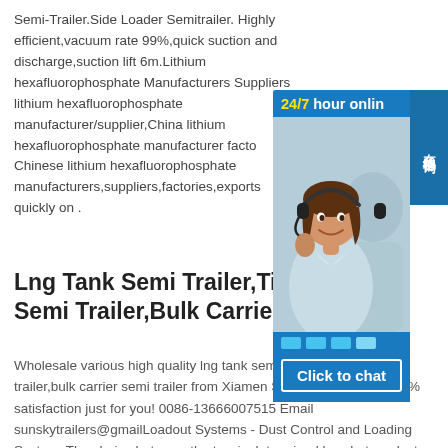Semi-Trailer.Side Loader Semitrailer. Highly efficient,vacuum rate 99%,quick suction and discharge,suction lift 6m.Lithium hexafluorophosphate Manufacturers Suppliers lithium hexafluorophosphate manufacturer/supplier,China lithium hexafluorophosphate manufacturer factory list, find qualified Chinese lithium hexafluorophosphate manufacturers,suppliers,factories,exporters quickly on .
[Figure (photo): Customer service representative with headset, blue background with '24/7 hour online' header and 'Click to chat' button. Side panel says '在线咨询' (online consultation).]
Lng Tank Semi Trailer,Tipper Semi Trailer,Bulk Carrier
Wholesale various high quality lng tank semi trailer,tipper semi trailer,bulk carrier semi trailer from Xiamen Sunsky Trailer Co..100% satisfaction just for you! 0086-13666007515 Email sunskytrailers@gmailLoadout Systems - Dust Control and Loading SystemsThe choice between the two is determined by what product youre loading and what type of truck.For